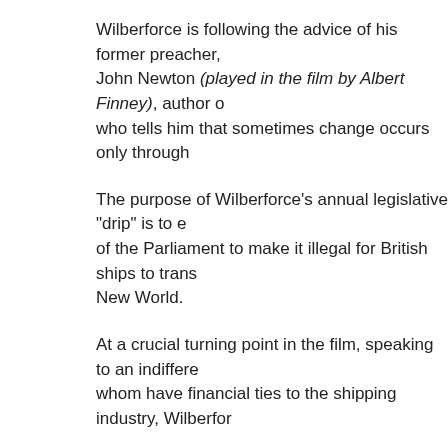Wilberforce is following the advice of his former preacher, John Newton (played in the film by Albert Finney), author of who tells him that sometimes change occurs only through
The purpose of Wilberforce’s annual legislative “drip” is to e of the Parliament to make it illegal for British ships to trans New World.
At a crucial turning point in the film, speaking to an indifference whom have financial ties to the shipping industry, Wilberfor
“It is with a heavy heart that I bring to the attention that degrades men to the level of brutes and insults our human nature. I am speaking of the slave trade click here.)
“What we got here is failure to commu